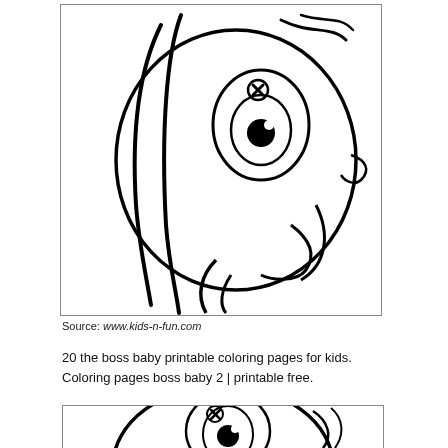[Figure (illustration): Boss Baby coloring page illustration — close-up of baby face with big round eyes, button nose with X mark, and flowing hair/feathers, black line art on white background]
Source: www.kids-n-fun.com
20 the boss baby printable coloring pages for kids. Coloring pages boss baby 2 | printable free.
[Figure (illustration): Second Boss Baby coloring page — partial view showing baby face with big eye and X-marked nose, black line art on white background]